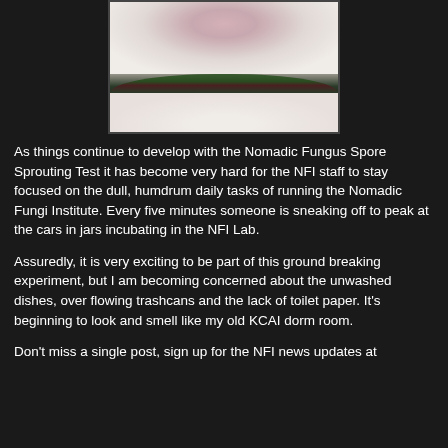[Figure (photo): Close-up photo of a glass jar or petri dish containing what appears to be fungal spore growth. A green rim/edge is visible with dark coloration, and white/pink fluffy mycelium growth is visible at the top.]
As things continue to develop with the Nomadic Fungus Spore Sprouting Test it has become very hard for the NFI staff to stay focused on the dull, humdrum daily tasks of running the Nomadic Fungi Institute. Every five minutes someone is sneaking off to peak at the cars in jars incubating in the NFI Lab.
Assuredly, it is very exciting to be part of this ground breaking experiment, but I am becoming concerned about the unwashed dishes, over flowing trashcans and the lack of toilet paper. It's beginning to look and smell like my old KCAI dorm room.
Don't miss a single post, sign up for the NFI news updates at